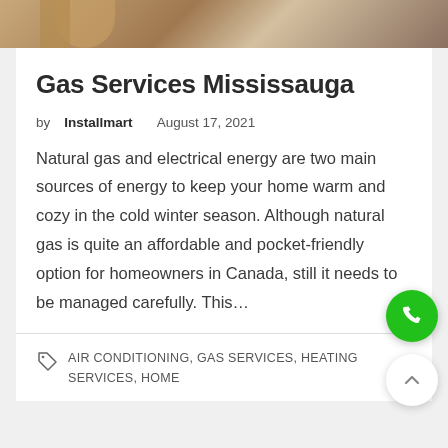[Figure (photo): Partial photo strip at top showing a person and kitchen background]
Gas Services Mississauga
by Installmart   August 17, 2021
Natural gas and electrical energy are two main sources of energy to keep your home warm and cozy in the cold winter season. Although natural gas is quite an affordable and pocket-friendly option for homeowners in Canada, still it needs to be managed carefully. This…
AIR CONDITIONING, GAS SERVICES, HEATING SERVICES, HOME